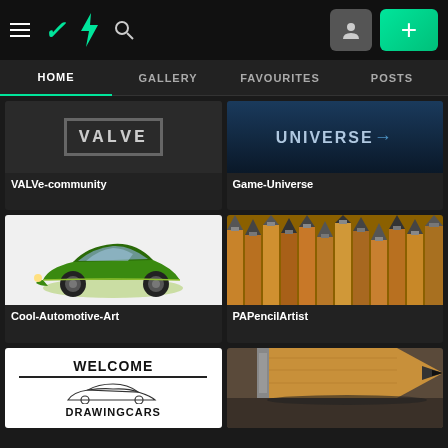[Figure (screenshot): DeviantArt website header with hamburger menu, DA logo (green lightning bolt), search icon, user avatar button, and green plus button]
HOME | GALLERY | FAVOURITES | POSTS
[Figure (screenshot): VALVe-community group card showing VALVE text in bordered box]
VALVe-community
[Figure (screenshot): Game-Universe group card showing UNIVERSE text on dark blue background]
Game-Universe
[Figure (illustration): Cool-Automotive-Art group card showing a green vintage hot rod car illustration]
Cool-Automotive-Art
[Figure (photo): PAPencilArtist group card showing rows of pencil tips close-up photo]
PAPencilArtist
[Figure (illustration): DrawingCars group card showing WELCOME text with car sketch and DRAWINGCARS text]
[Figure (photo): Partial pencil tip close-up photo, partially visible at bottom right]